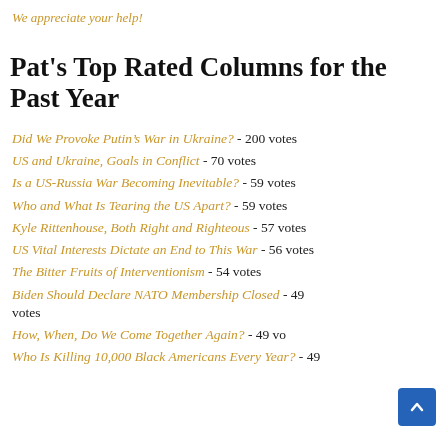We appreciate your help!
Pat's Top Rated Columns for the Past Year
Did We Provoke Putin’s War in Ukraine? - 200 votes
US and Ukraine, Goals in Conflict - 70 votes
Is a US-Russia War Becoming Inevitable? - 59 votes
Who and What Is Tearing the US Apart? - 59 votes
Kyle Rittenhouse, Both Right and Righteous - 57 votes
US Vital Interests Dictate an End to This War - 56 votes
The Bitter Fruits of Interventionism - 54 votes
Biden Should Declare NATO Membership Closed - 49 votes
How, When, Do We Come Together Again? - 49 votes
Who Is Killing 10,000 Black Americans Every Year? - 49